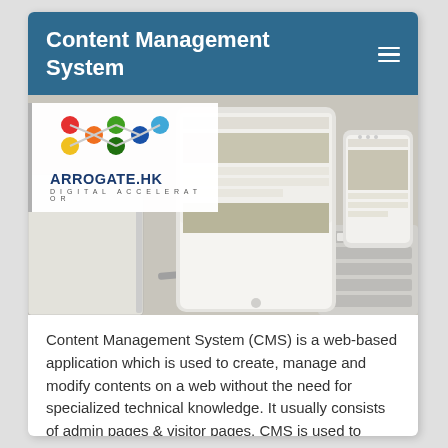Content Management System
[Figure (screenshot): Arrogate.HK Digital Accelerator logo on white background overlaid on a photo of tablet and phone devices showing a website, with a notebook and keyboard in the background.]
Content Management System (CMS) is a web-based application which is used to create, manage and modify contents on a web without the need for specialized technical knowledge. It usually consists of admin pages & visitor pages. CMS is used to manage members, consumers, service,